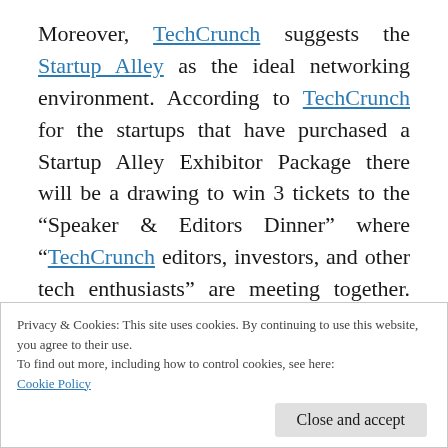Moreover, TechCrunch suggests the Startup Alley as the ideal networking environment. According to TechCrunch for the startups that have purchased a Startup Alley Exhibitor Package there will be a drawing to win 3 tickets to the “Speaker & Editors Dinner” where “TechCrunch editors, investors, and other tech enthusiasts” are meeting together. Additionally 50 startups from Startup Alley will be randomly selected to “have a 60-second
Privacy & Cookies: This site uses cookies. By continuing to use this website, you agree to their use.
To find out more, including how to control cookies, see here:
Cookie Policy
Close and accept